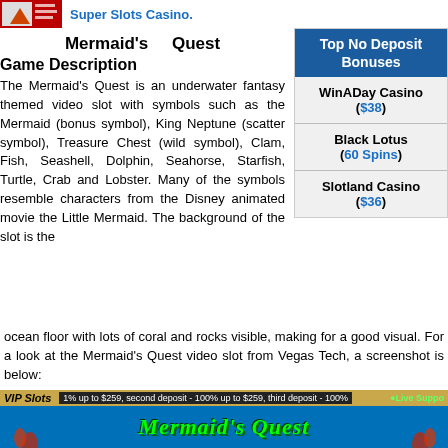Super Slots Casino.
Mermaid's Quest
Game Description
The Mermaid's Quest is an underwater fantasy themed video slot with symbols such as the Mermaid (bonus symbol), King Neptune (scatter symbol), Treasure Chest (wild symbol), Clam, Fish, Seashell, Dolphin, Seahorse, Starfish, Turtle, Crab and Lobster. Many of the symbols resemble characters from the Disney animated movie the Little Mermaid. The background of the slot is the ocean floor with lots of coral and rocks visible, making for a good visual. For a look at the Mermaid's Quest video slot from Vegas Tech, a screenshot is below:
Top No Deposit Bonuses
WinADay Casino ($38)
Black Lotus (60 Spins)
Slotland Casino ($36)
[Figure (screenshot): Screenshot of Mermaid's Quest video slot game showing the VIP Slots casino interface with colorful underwater themed symbols including fish, turtle, mermaid, crab, lobster, and seahorse on a blue ocean background.]